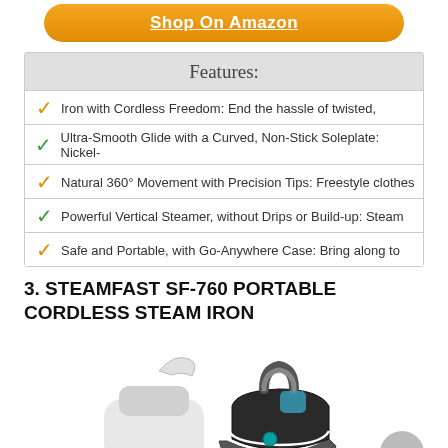[Figure (other): Orange rounded button with underlined text 'Shop On Amazon']
Features:
Iron with Cordless Freedom: End the hassle of twisted,
Ultra-Smooth Glide with a Curved, Non-Stick Soleplate: Nickel-
Natural 360° Movement with Precision Tips: Freestyle clothes
Powerful Vertical Steamer, without Drips or Build-up: Steam
Safe and Portable, with Go-Anywhere Case: Bring along to
3. STEAMFAST SF-760 PORTABLE CORDLESS STEAM IRON
[Figure (photo): Photo of Steamfast SF-760 portable cordless steam iron with charging base, white and dark gray, with teal accent]